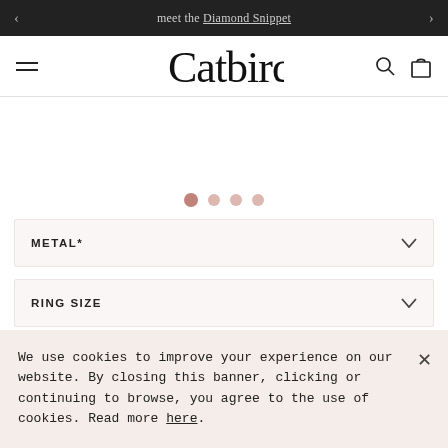meet the Diamond Snippet
[Figure (logo): Catbird logo in cursive/script font, centered in navigation bar]
[Figure (other): Image carousel with 4 pagination dots, first dot active (pink/salmon color)]
METAL*
RING SIZE
FINISH
We use cookies to improve your experience on our website. By closing this banner, clicking or continuing to browse, you agree to the use of cookies. Read more here.